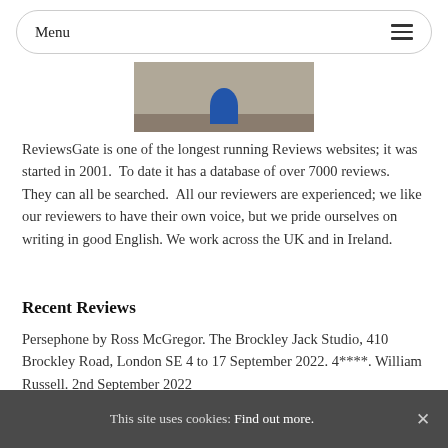Menu
[Figure (photo): Partial photo showing outdoor pavement/street scene with a person in blue visible at the bottom right]
ReviewsGate is one of the longest running Reviews websites; it was started in 2001.  To date it has a database of over 7000 reviews.  They can all be searched.  All our reviewers are experienced; we like our reviewers to have their own voice, but we pride ourselves on writing in good English. We work across the UK and in Ireland.
Recent Reviews
Persephone by Ross McGregor. The Brockley Jack Studio, 410 Brockley Road, London SE 4 to 17 September 2022. 4****. William Russell. 2nd September 2022
This site uses cookies: Find out more.